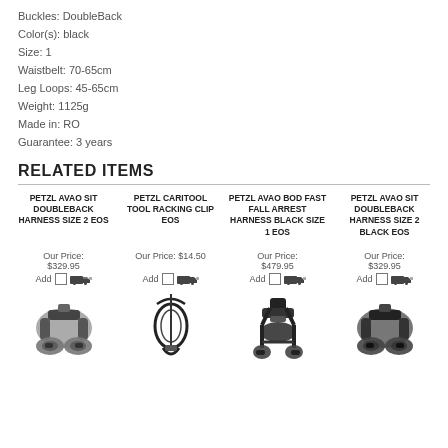Buckles: DoubleBack
Color(s): black
Size: 1
Waistbelt: 70-65cm
Leg Loops: 45-65cm
Weight: 1125g
Made in: RO
Guarantee: 3 years
RELATED ITEMS
| Product | Price | Add |
| --- | --- | --- |
| PETZL AVAO SIT DOUBLEBACK HARNESS SIZE 2 EOS | Our Price: $329.95 | Add |
| PETZL CARITOOL TOOL RACKING CLIP EOS | Our Price: $14.50 | Add |
| PETZL AVAO BOD FAST FALL ARREST HARNESS BLACK SIZE 1 EOS | Our Price: $479.95 | Add |
| PETZL AVAO SIT DOUBLEBACK HARNESS SIZE 2 BLACK EOS | Our Price: $329.95 | Add |